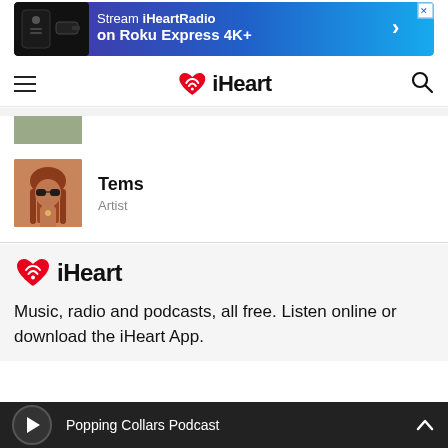[Figure (screenshot): Advertisement banner for streaming iHeartRadio on Roku Express 4K+]
iHeart navigation bar with hamburger menu and search icon
[Figure (photo): Partially visible artist thumbnail at top]
Tems
Artist
Music, radio and podcasts, all free. Listen online or download the iHeart App.
Popping Collars Podcast